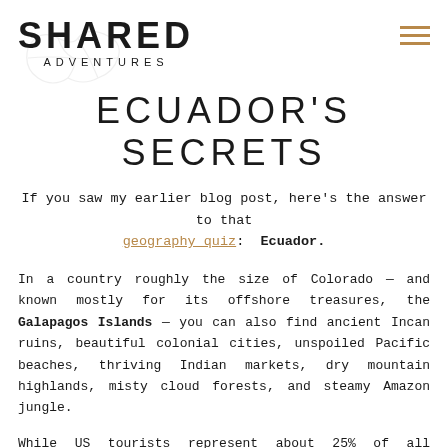SHARED ADVENTURES
ECUADOR'S SECRETS
If you saw my earlier blog post, here's the answer to that geography quiz: Ecuador.
In a country roughly the size of Colorado — and known mostly for its offshore treasures, the Galapagos Islands — you can also find ancient Incan ruins, beautiful colonial cities, unspoiled Pacific beaches, thriving Indian markets, dry mountain highlands, misty cloud forests, and steamy Amazon jungle.
While US tourists represent about 25% of all visitors to